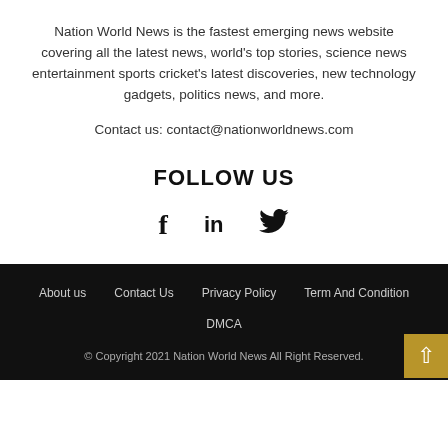Nation World News is the fastest emerging news website covering all the latest news, world's top stories, science news entertainment sports cricket's latest discoveries, new technology gadgets, politics news, and more.
Contact us: contact@nationworldnews.com
FOLLOW US
[Figure (other): Social media icons: Facebook (f), LinkedIn (in), Twitter (bird icon)]
About us   Contact Us   Privacy Policy   Term And Condition   DMCA   © Copyright 2021 Nation World News All Right Reserved.